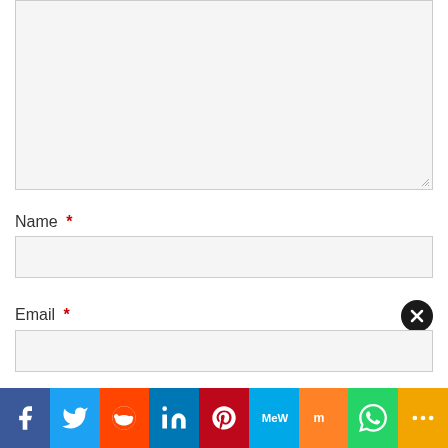[Figure (screenshot): Large empty textarea input box with light gray background and resize handle at bottom-right]
Name *
[Figure (screenshot): Name input field, empty, light gray background]
Email *
[Figure (screenshot): Email input field, empty, light gray background]
[Figure (infographic): Social sharing bar with icons: Facebook, Twitter, Reddit, LinkedIn, Pinterest, MeWe, Mix, WhatsApp, More]